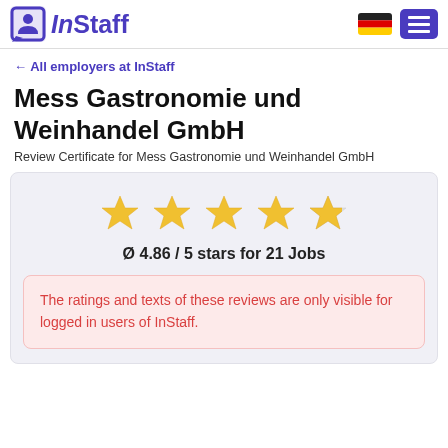InStaff — navigation header with logo, German flag, and menu button
← All employers at InStaff
Mess Gastronomie und Weinhandel GmbH
Review Certificate for Mess Gastronomie und Weinhandel GmbH
[Figure (other): Five gold stars rating display (4 full, 1 partial)]
Ø 4.86 / 5 stars for 21 Jobs
The ratings and texts of these reviews are only visible for logged in users of InStaff.